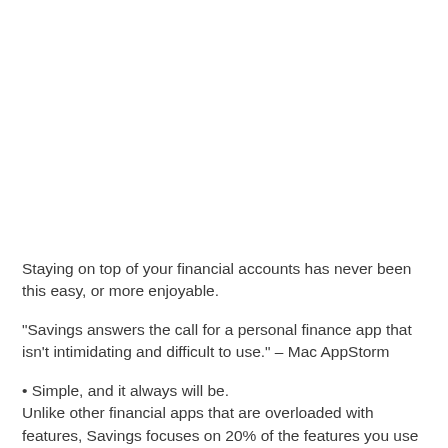Staying on top of your financial accounts has never been this easy, or more enjoyable.
"Savings answers the call for a personal finance app that isn't intimidating and difficult to use." – Mac AppStorm
• Simple, and it always will be.
Unlike other financial apps that are overloaded with features, Savings focuses on 20% of the features you use 80% of the time